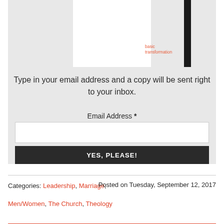[Figure (illustration): Book cover image showing 'basic transformation' text in red/coral on white background with a thick black vertical bar, displayed on a gray panel background]
Type in your email address and a copy will be sent right to your inbox.
Email Address *
YES, PLEASE!
Categories: Leadership, Marriage,   Posted on Tuesday, September 12, 2017
Men/Women, The Church, Theology